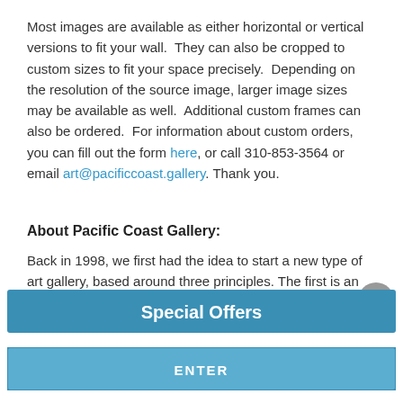Most images are available as either horizontal or vertical versions to fit your wall. They can also be cropped to custom sizes to fit your space precisely. Depending on the resolution of the source image, larger image sizes may be available as well. Additional custom frames can also be ordered. For information about custom orders, you can fill out the form here, or call 310-853-3564 or email art@pacificcoast.gallery. Thank you.
About Pacific Coast Gallery:
Back in 1998, we first had the idea to start a new type of art gallery, based around three principles. The first is an obsession with quality. We offer some of the highest-resolution photos
[Figure (other): Gray circular close/dismiss button with X symbol, overlapping the about text]
[Figure (other): Blue 'Special Offers' button banner]
[Figure (other): Blue 'ENTER' button]